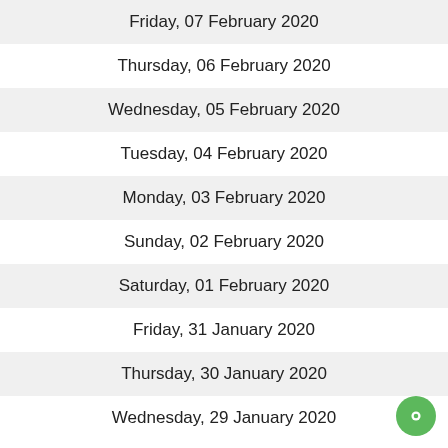Friday, 07 February 2020
Thursday, 06 February 2020
Wednesday, 05 February 2020
Tuesday, 04 February 2020
Monday, 03 February 2020
Sunday, 02 February 2020
Saturday, 01 February 2020
Friday, 31 January 2020
Thursday, 30 January 2020
Wednesday, 29 January 2020